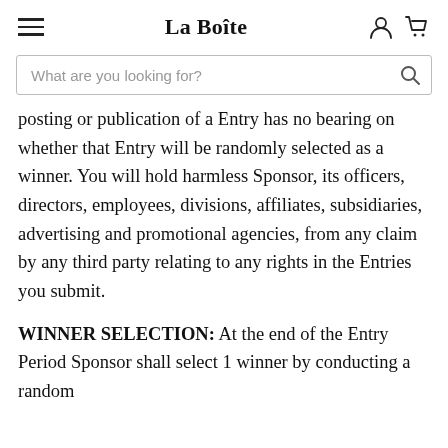La Boîte
posting or publication of a Entry has no bearing on whether that Entry will be randomly selected as a winner. You will hold harmless Sponsor, its officers, directors, employees, divisions, affiliates, subsidiaries, advertising and promotional agencies, from any claim by any third party relating to any rights in the Entries you submit.
WINNER SELECTION: At the end of the Entry Period Sponsor shall select 1 winner by conducting a random